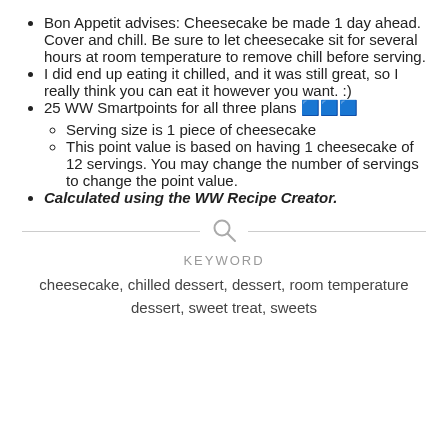Bon Appetit advises: Cheesecake be made 1 day ahead. Cover and chill. Be sure to let cheesecake sit for several hours at room temperature to remove chill before serving.
I did end up eating it chilled, and it was still great, so I really think you can eat it however you want. :)
25 WW Smartpoints for all three plans 🟦🟦🟦
Serving size is 1 piece of cheesecake
This point value is based on having 1 cheesecake of 12 servings. You may change the number of servings to change the point value.
Calculated using the WW Recipe Creator.
KEYWORD
cheesecake, chilled dessert, dessert, room temperature dessert, sweet treat, sweets